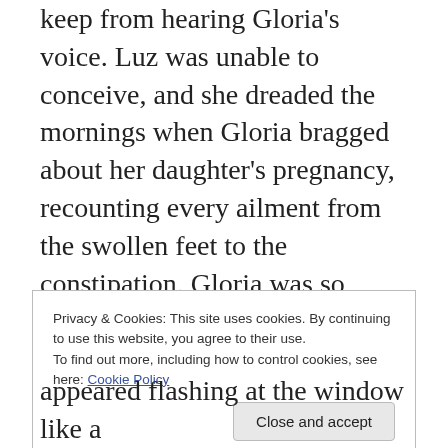keep from hearing Gloria's voice. Luz was unable to conceive, and she dreaded the mornings when Gloria bragged about her daughter's pregnancy, recounting every ailment from the swollen feet to the constipation. Gloria was so proud of the pregnancy you'd think she was responsible for it herself. And though Luz felt some jealousy at the news, the thought that Gloria might have to quit to help her daughter care for the infant made her smile.
Privacy & Cookies: This site uses cookies. By continuing to use this website, you agree to their use.
To find out more, including how to control cookies, see here: Cookie Policy
appeared flashing at the window like a